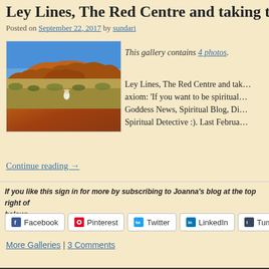Ley Lines, The Red Centre and taking the…
Posted on September 22, 2017 by sundari
[Figure (photo): Photo of Uluru (Ayers Rock) red sandstone monolith under blue sky with a person standing in front]
This gallery contains 4 photos.
Ley Lines, The Red Centre and tak… axiom: 'If you want to be spiritual… Goddess News, Spiritual Blog, Di… Spiritual Detective :). Last Februa…
Continue reading →
If you like this sign in for more by subscribing to Joanna's blog at the top right of… below:
Facebook  Pinterest  Twitter  LinkedIn  Tumbl…
More Galleries | 3 Comments